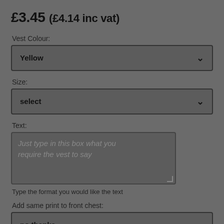£3.45 (£4.14 inc vat)
Vest Colour:
Yellow
Size:
select
Text:
Just type in this box what you require the vest to say
Type the format you would like the text
Add same print to front chest:
no thanks